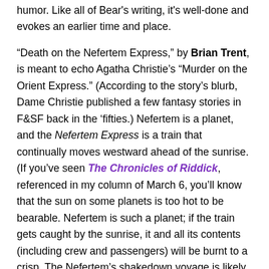humor. Like all of Bear's writing, it's well-done and evokes an earlier time and place.
"Death on the Nefertem Express," by Brian Trent, is meant to echo Agatha Christie's "Murder on the Orient Express." (According to the story's blurb, Dame Christie published a few fantasy stories in F&SF back in the 'fifties.) Nefertem is a planet, and the Nefertem Express is a train that continually moves westward ahead of the sunrise. (If you've seen The Chronicles of Riddick, referenced in my column of March 6, you'll know that the sun on some planets is too hot to be bearable. Nefertem is such a planet; if the train gets caught by the sunrise, it and all its contents (including crew and passengers) will be burnt to a crisp. The Nefertem's shakedown voyage is likely to be its last, as someone has sabotaged the engine by stealing